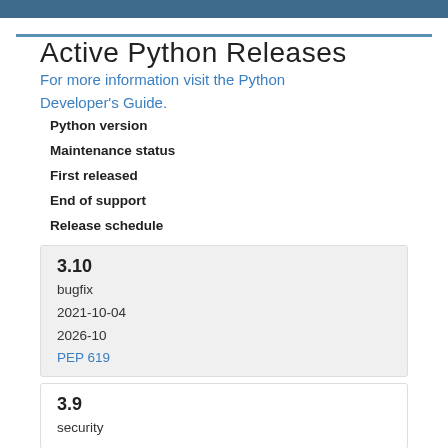Active Python Releases
For more information visit the Python Developer's Guide.
| Python version | Maintenance status | First released | End of support | Release schedule |
| --- | --- | --- | --- | --- |
| 3.10 | bugfix | 2021-10-04 | 2026-10 | PEP 619 |
| 3.9 | security |  |  |  |